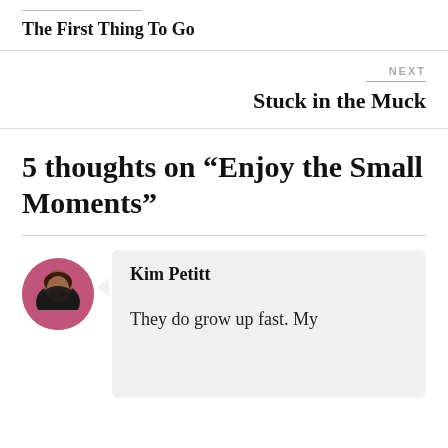The First Thing To Go
NEXT
Stuck in the Muck
5 thoughts on “Enjoy the Small Moments”
Kim Petitt
They do grow up fast. My